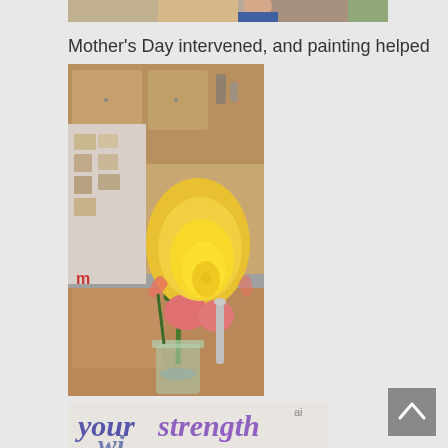[Figure (photo): Partial view of a photo at the top of the page, cropped — appears to show a person]
Mother's Day intervened, and painting helped
[Figure (photo): A yellow rose with pink-tipped petals in a glass vase on a kitchen counter, with wooden cabinets and a refrigerator with magnets in the background]
[Figure (photo): Partial view of a hand-lettered card reading 'your strength wi...' in purple and gold script lettering]
[Figure (other): Gray scroll-to-top button with upward chevron arrow, positioned bottom right]